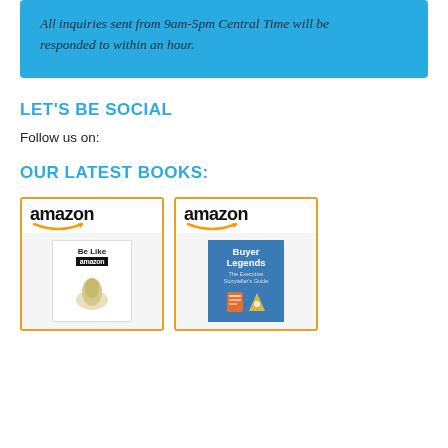All inquiries sent from 9am-5pm Central Time will be responded to within an hour.
LET'S BE SOCIAL
Follow us on:
OUR LATEST BOOKS:
[Figure (illustration): Two Amazon book product images side by side. Left: 'Be Like Amazon' book cover. Right: 'Buyer Legends' book cover.]